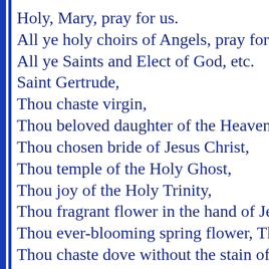Holy, Mary, pray for us.
All ye holy choirs of Angels, pray for
All ye Saints and Elect of God, etc.
Saint Gertrude,
Thou chaste virgin,
Thou beloved daughter of the Heaven
Thou chosen bride of Jesus Christ,
Thou temple of the Holy Ghost,
Thou joy of the Holy Trinity,
Thou fragrant flower in the hand of Je
Thou ever-blooming spring flower, Th
Thou chaste dove without the stain of